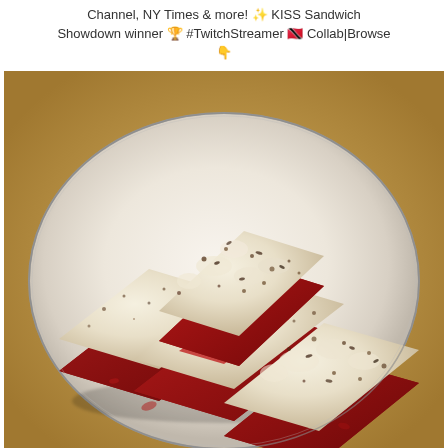Channel, NY Times & more! ✨ KISS Sandwich Showdown winner 🏆 #TwitchStreamer 🇹🇹 Collab|Browse 👇
[Figure (photo): Three square red velvet brownie bars stacked on a white plate. The bars have a bright red velvet base and a white/cream colored topping sprinkled with dark seeds or spices. The plate sits on a warm golden/tan background.]